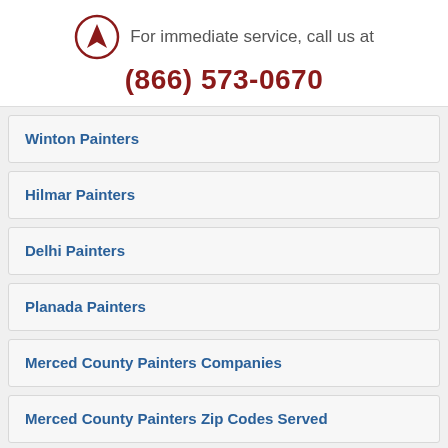For immediate service, call us at
(866) 573-0670
Winton Painters
Hilmar Painters
Delhi Painters
Planada Painters
Merced County Painters Companies
Merced County Painters Zip Codes Served